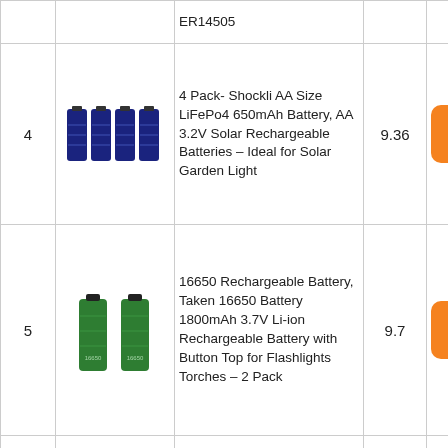| # | Image | Product Name | Score | Link |
| --- | --- | --- | --- | --- |
|  |  | ER14505 |  |  |
| 4 | [image: 4 AA batteries] | 4 Pack- Shockli AA Size LiFePo4 650mAh Battery, AA 3.2V Solar Rechargeable Batteries – Ideal for Solar Garden Light | 9.36 | Check Price |
| 5 | [image: 2 green batteries] | 16650 Rechargeable Battery, Taken 16650 Battery 1800mAh 3.7V Li-ion Rechargeable Battery with Button Top for Flashlights Torches – 2 Pack | 9.7 | Check Price |
|  | [image: batteries] | 2 SAFT AA 3.6V ... |  |  |